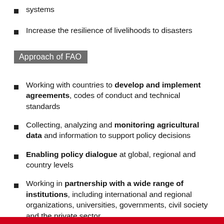systems
Increase the resilience of livelihoods to disasters
Approach of FAO
Working with countries to develop and implement agreements, codes of conduct and technical standards
Collecting, analyzing and monitoring agricultural data and information to support policy decisions
Enabling policy dialogue at global, regional and country levels
Working in partnership with a wide range of institutions, including international and regional organizations, universities, governments, civil society and the private sector
Building the capacity of countries to meet their